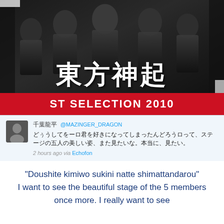[Figure (photo): Photo of a music album/DVD cover for Tohoshinki (TVXQ/東方神起) featuring five young men in dark clothing. Large Japanese characters '東方神起' are displayed prominently, with a red banner at the bottom reading 'ST SELECTION 2010'.]
[Figure (screenshot): Tweet screenshot from user 千葉龍平 (@MAZINGER_DRAGON) in Japanese, posted 2 hours ago via Echofon. Text: どぅうしてをーロ君を好きになってしまったんどろうロって、ステージの五人の美しい姿、また見たいな。本当に、見たい。]
"Doushite kimiwo sukini natte shimattandarou" I want to see the beautiful stage of the 5 members once more. I really want to see